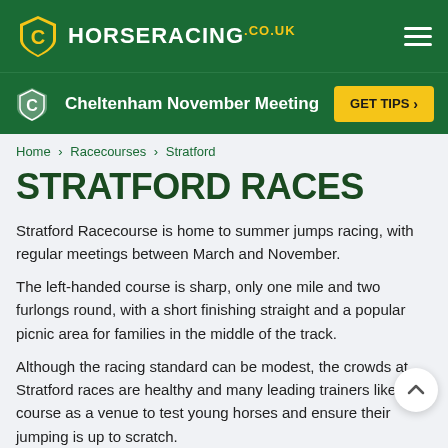HORSERACING.co.uk — Cheltenham November Meeting
Home > Racecourses > Stratford
STRATFORD RACES
Stratford Racecourse is home to summer jumps racing, with regular meetings between March and November.
The left-handed course is sharp, only one mile and two furlongs round, with a short finishing straight and a popular picnic area for families in the middle of the track.
Although the racing standard can be modest, the crowds at Stratford races are healthy and many leading trainers like the course as a venue to test young horses and ensure their jumping is up to scratch.
The highlight of the calendar is the two-day meeting in June that features the Champion Hurdle...